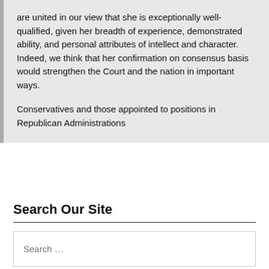are united in our view that she is exceptionally well-qualified, given her breadth of experience, demonstrated ability, and personal attributes of intellect and character. Indeed, we think that her confirmation on consensus basis would strengthen the Court and the nation in important ways.

Conservatives and those appointed to positions in Republican Administrations
Search Our Site